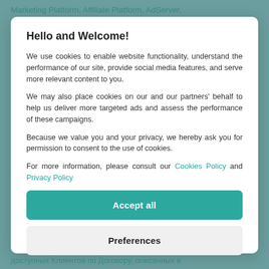Marketing Platform, Affiliate Platform, AdServer, Adtarget Market, AdTarget DMP, AdTarget DSP
Hello and Welcome!
We use cookies to enable website functionality, understand the performance of our site, provide social media features, and serve more relevant content to you.
We may also place cookies on our and our partners' behalf to help us deliver more targeted ads and assess the performance of these campaigns.
Because we value you and your privacy, we hereby ask you for permission to consent to the use of cookies.
For more information, please consult our Cookies Policy and Privacy Policy
Accept all
Preferences
доступных Клиентов по Договору, описанных в